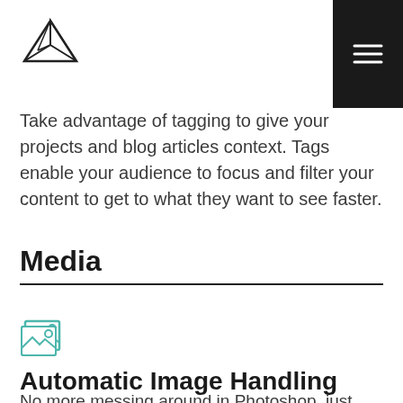[Figure (logo): Origami paper plane logo outline]
[Figure (illustration): Hamburger menu icon on dark background]
Take advantage of tagging to give your projects and blog articles context. Tags enable your audience to focus and filter your content to get to what they want to see faster.
Media
[Figure (illustration): Image/media icon with mountains and sun]
Automatic Image Handling
No more messing around in Photoshop, just upload your